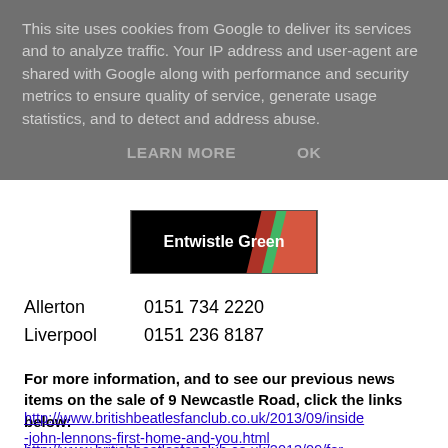This site uses cookies from Google to deliver its services and to analyze traffic. Your IP address and user-agent are shared with Google along with performance and security metrics to ensure quality of service, generate usage statistics, and to detect and address abuse.
LEARN MORE   OK
[Figure (logo): Entwistle Green logo: black background with diagonal red and green stripe, white text reading 'Entwistle Green']
Allerton   0151 734 2220
Liverpool   0151 236 8187
For more information, and to see our previous news items on the sale of 9 Newcastle Road, click the links below:
http://www.britishbeatlesfanclub.co.uk/2013/09/inside-john-lennons-first-home-and-you.html
http://www.britishbeatlesfanclub.co.uk/2013/09/for-